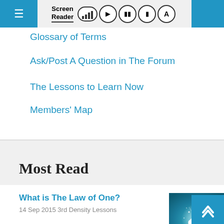Screen Reader navigation bar with hamburger menu, signal icon, play, pause, stop, and A buttons
Glossary of Terms
Ask/Post A Question in The Forum
The Lessons to Learn Now
Members' Map
Most Read
What is The Law of One?
14 Sep 2015 3rd Density Lessons
[Figure (photo): White lotus flower with sparkling light particles on teal/blue background]